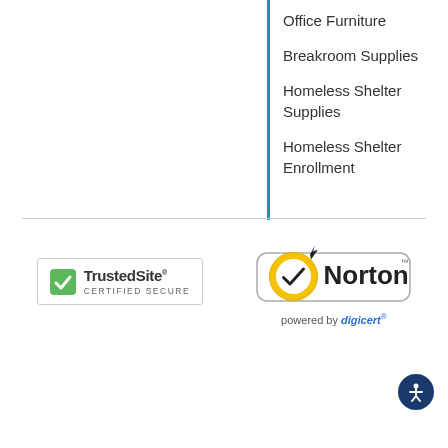Office Furniture
Breakroom Supplies
Homeless Shelter Supplies
Homeless Shelter Enrollment
[Figure (logo): TrustedSite CERTIFIED SECURE badge with green checkmark icon]
[Figure (logo): Norton powered by digicert security badge with yellow circle and checkmark]